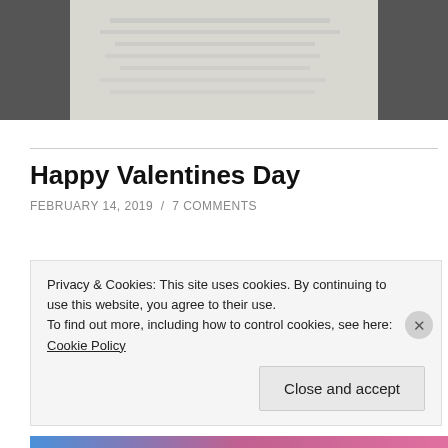[Figure (photo): Top banner image area - partially visible photo with light and dark sections]
Happy Valentines Day
FEBRUARY 14, 2019 / 7 COMMENTS
[Figure (photo): Article image area showing partial red triangle/heart shape on light background]
Privacy & Cookies: This site uses cookies. By continuing to use this website, you agree to their use.
To find out more, including how to control cookies, see here: Cookie Policy
Close and accept